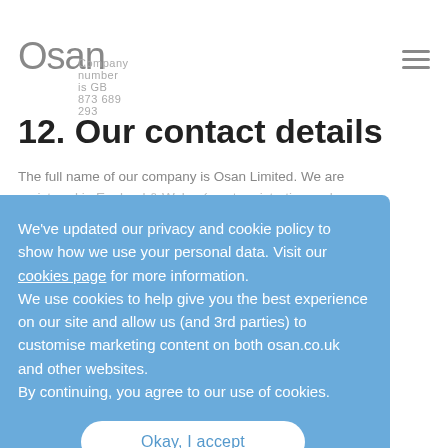Osan — Company number is GB 873 689 293
12. Our contact details
The full name of our company is Osan Limited. We are registered in England & Wales (most registration number…
We've updated our privacy and cookie policy to show how we use your personal data. Visit our cookies page for more information.
We use cookies to help give you the best experience on our site and allow us (and 3rd parties) to customise marketing content on both osan.co.uk and other websites.
By continuing, you agree to our use of cookies.
Okay, I accept
Cheshire
CW1 6BZ
You can contact us via email by contact@osan.co.uk…